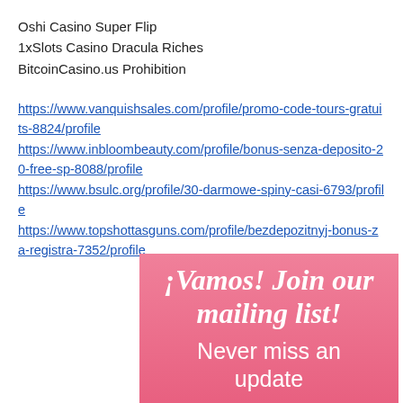Oshi Casino Super Flip
1xSlots Casino Dracula Riches
BitcoinCasino.us Prohibition
https://www.vanquishsales.com/profile/promo-code-tours-gratuits-8824/profile https://www.inbloombeauty.com/profile/bonus-senza-deposito-20-free-sp-8088/profile https://www.bsulc.org/profile/30-darmowe-spiny-casi-6793/profile https://www.topshottasguns.com/profile/bezdepozitnyj-bonus-za-registra-7352/profile
[Figure (infographic): Pink banner with white text: '¡Vamos! Join our mailing list! Never miss an update']